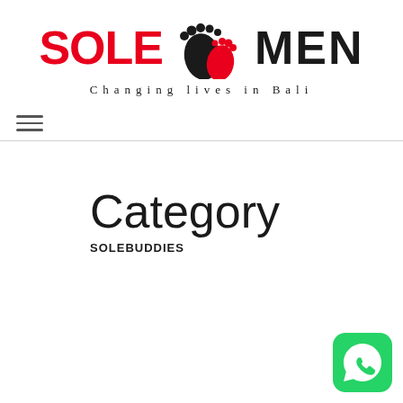[Figure (logo): Sole Men logo with two footprints (black and red) and tagline 'Changing lives in Bali']
Category
SOLEBUDDIES
[Figure (logo): WhatsApp chat button icon (green rounded square with white phone handset in speech bubble)]